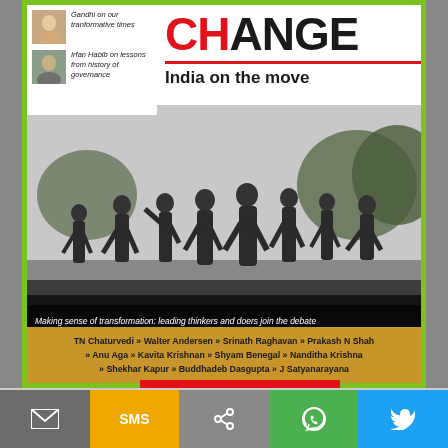[Figure (photo): Magazine cover showing 'CHANGE: India on the move' with background image of marching statues, contributor photos and names, colored border.]
Gandhi on our transformative times
Irfan Habib on lessons from history of governance
CHANGE
India on the move
Making sense of transformation: leading thinkers and doers join the debate
TN Chaturvedi » Walter Andersen » Srinath Raghavan » Prakash N Shah » Anu Aga » Kavita Krishnan » Shyam Benegal » Nanditha Krishna » Shekhar Kapur » Buddhadeb Dasgupta » J Satyanarayana